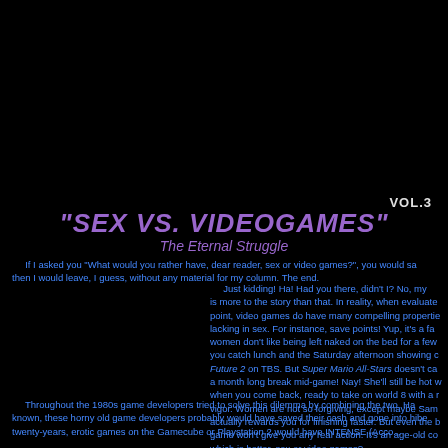VOL.3
"SEX VS. VIDEOGAMES"
The Eternal Struggle
If I asked you "What would you rather have, dear reader, sex or video games?", you would sa then I would leave, I guess, without any material for my column. The end.
Just kidding! Ha! Had you there, didn't I? No, my is more to the story than that. In reality, when evaluate point, video games do have many compelling propertie lacking in sex. For instance, save points! Yup, it's a fa women don't like being left naked on the bed for a few you catch lunch and the Saturday afternoon showing o Future 2 on TBS. But Super Mario All-Stars doesn't ca a month long break mid-game! Nay! She'll still be hot w when you come back, ready to take on world 8 with a r vigor. Women are not so forgiving, except maybe Sam actually rewards you for finishing faster. But even the b game won't give you any real action. It's an age-old co which is better, sex or video games?
Throughout the 1980s game developers tried to solve this dilemma by combining the two. Ha known, these horny old game developers probably would have saved their cash and gone into hibe twenty-years, erotic games on the Gamecube or Playstation 2 would have INTENSE (Acco...